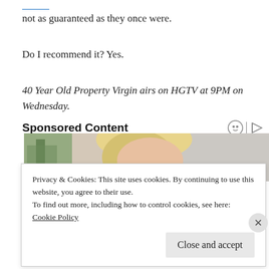not as guaranteed as they once were.
Do I recommend it? Yes.
40 Year Old Property Virgin airs on HGTV at 9PM on Wednesday.
Sponsored Content
[Figure (photo): Partial photo of a blonde woman looking down, with green plant in background]
Privacy & Cookies: This site uses cookies. By continuing to use this website, you agree to their use.
To find out more, including how to control cookies, see here:
Cookie Policy
Close and accept